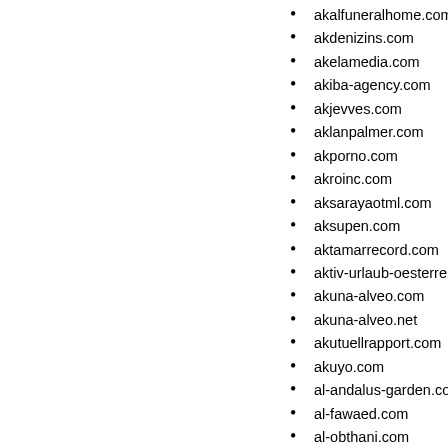akalfuneralhome.com
akdenizins.com
akelamedia.com
akiba-agency.com
akjevves.com
aklanpalmer.com
akporno.com
akroinc.com
aksarayaotml.com
aksupen.com
aktamarrecord.com
aktiv-urlaub-oesterreich-tiro
akuna-alveo.com
akuna-alveo.net
akutuellrapport.com
akuyo.com
al-andalus-garden.com
al-fawaed.com
al-obthani.com
al3mad.com
alaadinhotel.com
alabamamakesit.com
alabamamesotheliomaaattorne
alabamastatebank.com
alaburar.com
aladdianhotel.com
alage-x.com
alamonica.com